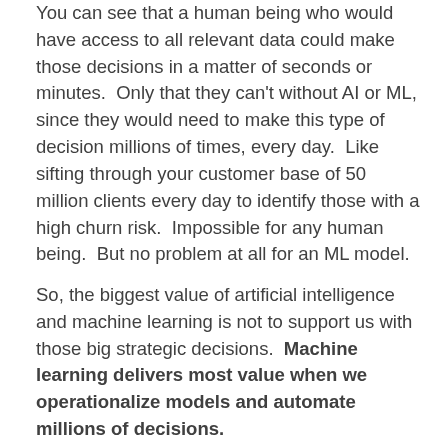You can see that a human being who would have access to all relevant data could make those decisions in a matter of seconds or minutes.  Only that they can't without AI or ML, since they would need to make this type of decision millions of times, every day.  Like sifting through your customer base of 50 million clients every day to identify those with a high churn risk.  Impossible for any human being.  But no problem at all for an ML model.
So, the biggest value of artificial intelligence and machine learning is not to support us with those big strategic decisions.  Machine learning delivers most value when we operationalize models and automate millions of decisions.